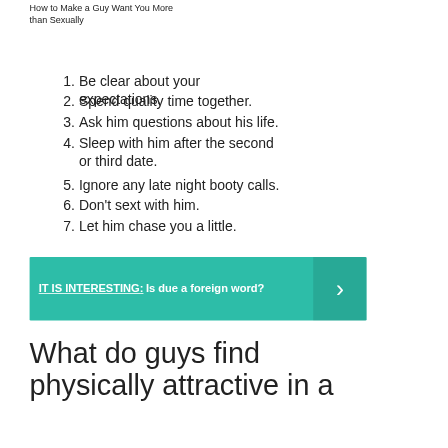How to Make a Guy Want You More than Sexually
Be clear about your expectations.
Spend quality time together.
Ask him questions about his life.
Sleep with him after the second or third date.
Ignore any late night booty calls.
Don't sext with him.
Let him chase you a little.
IT IS INTERESTING: Is due a foreign word?
What do guys find physically attractive in a